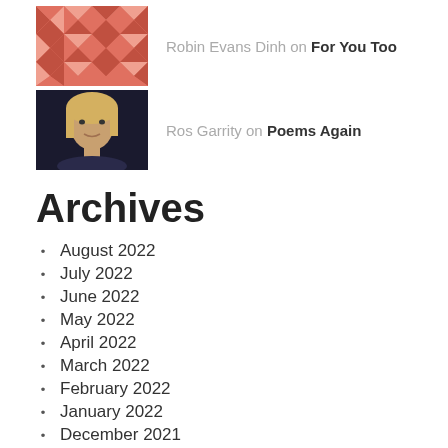[Figure (photo): Pink/red geometric quilt pattern avatar]
Robin Evans Dinh on For You Too
[Figure (photo): Photo of a woman with blonde hair, dark background]
Ros Garrity on Poems Again
Archives
August 2022
July 2022
June 2022
May 2022
April 2022
March 2022
February 2022
January 2022
December 2021
November 2021
October 2021